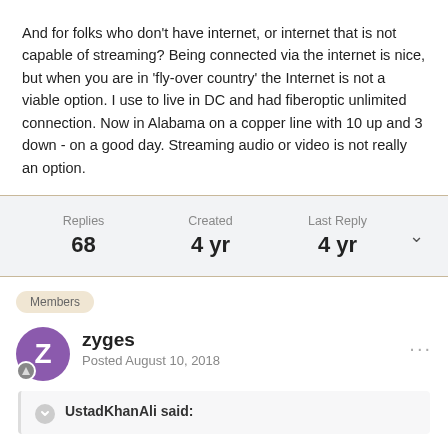And for folks who don't have internet, or internet that is not capable of streaming? Being connected via the internet is nice, but when you are in 'fly-over country' the Internet is not a viable option. I use to live in DC and had fiberoptic unlimited connection. Now in Alabama on a copper line with 10 up and 3 down - on a good day. Streaming audio or video is not really an option.
| Replies | Created | Last Reply |
| --- | --- | --- |
| 68 | 4 yr | 4 yr |
Members
zyges
Posted August 10, 2018
UstadKhanAli said: